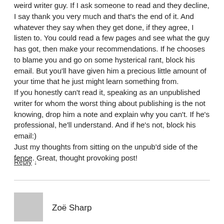weird writer guy. If I ask someone to read and they decline, I say thank you very much and that's the end of it. And whatever they say when they get done, if they agree, I listen to. You could read a few pages and see what the guy has got, then make your recommendations. If he chooses to blame you and go on some hysterical rant, block his email. But you'll have given him a precious little amount of your time that he just might learn something from.
If you honestly can't read it, speaking as an unpublished writer for whom the worst thing about publishing is the not knowing, drop him a note and explain why you can't. If he's professional, he'll understand. And if he's not, block his email:)
Just my thoughts from sitting on the unpub'd side of the fence. Great, thought provoking post!
Reply ↓
Zoë Sharp